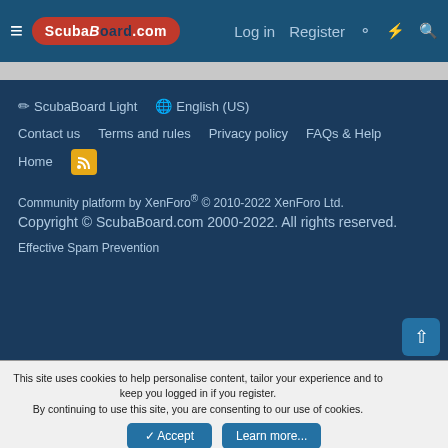ScubaBoard.com — Log in  Register
✏ ScubaBoard Light   🌐 English (US)
Contact us   Terms and rules   Privacy policy   FAQs & Help   Home
[Figure (logo): RSS feed icon — orange square with RSS symbol]
Community platform by XenForo® © 2010-2022 XenForo Ltd. Copyright © ScubaBoard.com 2000-2022. All rights reserved.
Effective Spam Prevention
This site uses cookies to help personalise content, tailor your experience and to keep you logged in if you register. By continuing to use this site, you are consenting to our use of cookies.
✔ Accept   Learn more...